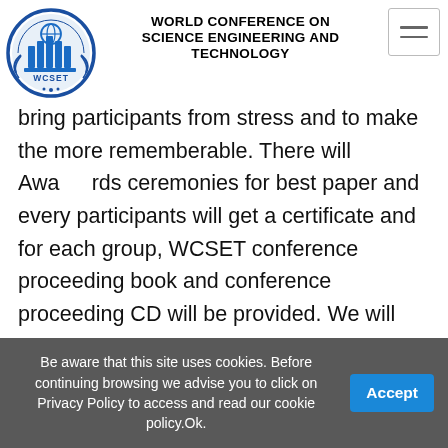WORLD CONFERENCE ON SCIENCE ENGINEERING AND TECHNOLOGY
bring participants from stress and to make the more rememberable. There will Awards ceremonies for best paper and every participants will get a certificate and for each group, WCSET conference proceeding book and conference proceeding CD will be provided. We will provide food for Coffee break and Lunch break. The meeting will be held each year to make it a perfect stage for individuals to share perspectives and puts a spotlight on Science, Engineering, and Technology. The horizons of engineering and technology becomes increasing advantageous to the world to find a common platform where the latest
Be aware that this site uses cookies. Before continuing browsing we advise you to click on Privacy Policy to access and read our cookie policy.Ok.